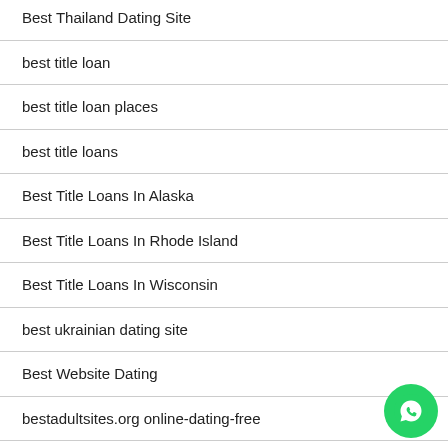Best Thailand Dating Site
best title loan
best title loan places
best title loans
Best Title Loans In Alaska
Best Title Loans In Rhode Island
Best Title Loans In Wisconsin
best ukrainian dating site
Best Website Dating
bestadultsites.org online-dating-free
better title loans
betting
Bewerten Sie mein Date seiten